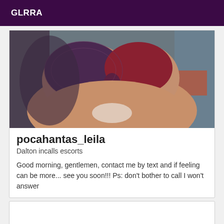GLRRA
[Figure (photo): Close-up photo of a person wearing a dark purple/maroon lace bra, torso visible against a blurred background with blue and orange elements.]
pocahantas_leila
Dalton incalls escorts
Good morning, gentlemen, contact me by text and if feeling can be more... see you soon!!! Ps: don't bother to call I won't answer